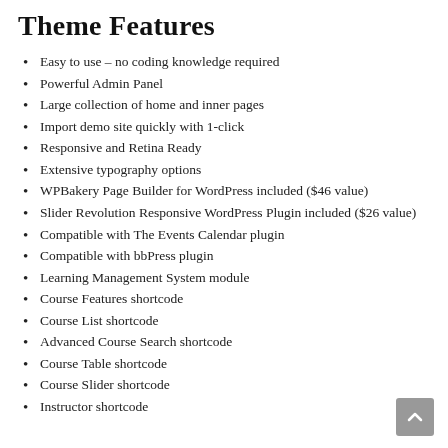Theme Features
Easy to use – no coding knowledge required
Powerful Admin Panel
Large collection of home and inner pages
Import demo site quickly with 1-click
Responsive and Retina Ready
Extensive typography options
WPBakery Page Builder for WordPress included ($46 value)
Slider Revolution Responsive WordPress Plugin included ($26 value)
Compatible with The Events Calendar plugin
Compatible with bbPress plugin
Learning Management System module
Course Features shortcode
Course List shortcode
Advanced Course Search shortcode
Course Table shortcode
Course Slider shortcode
Instructor shortcode